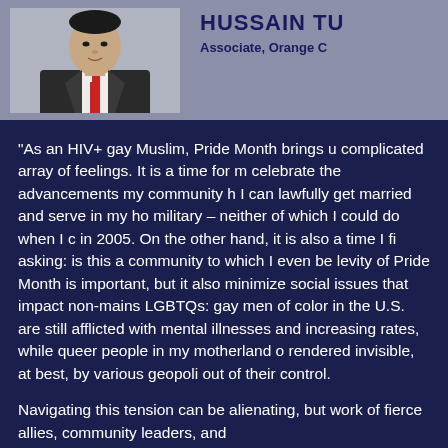[Figure (photo): Headshot of a man in a suit with a striped tie against a plain background]
HUSSAIN TU
Associate, Orange C
“As an HIV+ gay Muslim, Pride Month brings u complicated array of feelings. It is a time for m celebrate the advancements my community h I can lawfully get married and serve in my ho military – neither of which I could do when I c in 2005. On the other hand, it is also a time I fi asking: is this a community to which I even be levity of Pride Month is important, but it also minimize social issues that impact non-mains LGBTQs: gay men of color in the U.S. are still afflicted with mental illnesses and increasing rates, while queer people in my motherland o rendered invisible, at best, by various geopoli out of their control.
Navigating this tension can be alienating, but work of fierce allies, community leaders, and